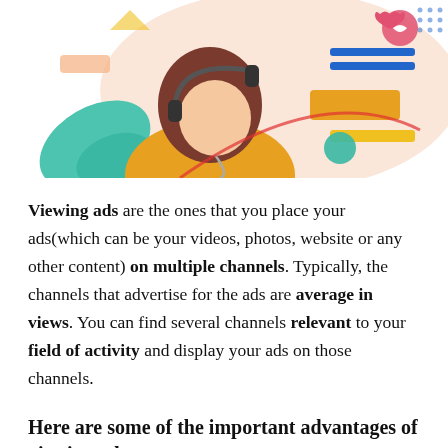[Figure (illustration): Colorful illustration of a person with headphones listening to music, surrounded by social media and digital content icons including a heart, chat bubble, and geometric shapes in teal, orange, yellow, and blue colors.]
Viewing ads are the ones that you place your ads(which can be your videos, photos, website or any other content) on multiple channels. Typically, the channels that advertise for the ads are average in views. You can find several channels relevant to your field of activity and display your ads on those channels.
Here are some of the important advantages of viewing ads: